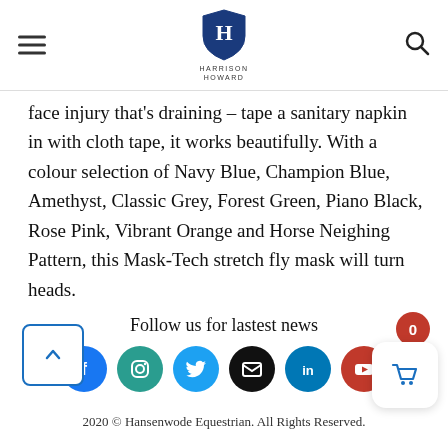Harrison Howard - navigation bar with hamburger menu, logo, and search icon
face injury that's draining – tape a sanitary napkin in with cloth tape, it works beautifully. With a colour selection of Navy Blue, Champion Blue, Amethyst, Classic Grey, Forest Green, Piano Black, Rose Pink, Vibrant Orange and Horse Neighing Pattern, this Mask-Tech stretch fly mask will turn heads.
Follow us for lastest news
[Figure (infographic): Row of social media icons: Facebook (blue), Instagram (teal), Twitter (blue), Email (black), LinkedIn (blue), YouTube (red)]
2020 © Hansenwode Equestrian. All Rights Reserved.